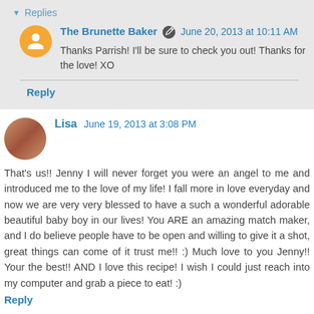Replies
The Brunette Baker  June 20, 2013 at 10:11 AM
Thanks Parrish! I'll be sure to check you out! Thanks for the love! XO
Reply
Lisa  June 19, 2013 at 3:08 PM
That's us!! Jenny I will never forget you were an angel to me and introduced me to the love of my life! I fall more in love everyday and now we are very very blessed to have a such a wonderful adorable beautiful baby boy in our lives! You ARE an amazing match maker, and I do believe people have to be open and willing to give it a shot, great things can come of it trust me!! :) Much love to you Jenny!! Your the best!! AND I love this recipe! I wish I could just reach into my computer and grab a piece to eat! :)
Reply